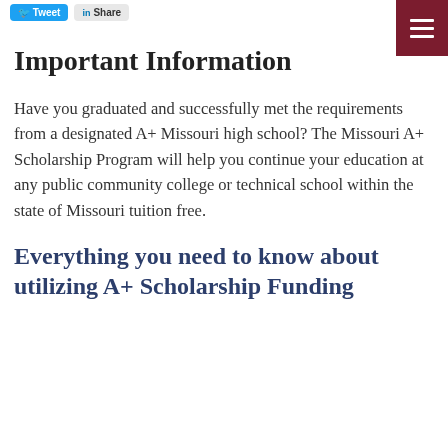Tweet | Share
Important Information
Have you graduated and successfully met the requirements from a designated A+ Missouri high school? The Missouri A+ Scholarship Program will help you continue your education at any public community college or technical school within the state of Missouri tuition free.
Everything you need to know about utilizing A+ Scholarship Funding